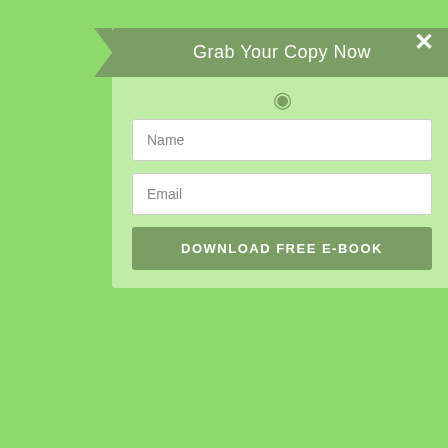[Figure (screenshot): Green overlay popup modal with 'Grab Your Copy Now' banner, Name and Email input fields, Download Free E-Book button, and a close X button]
Grab Your Copy Now
Name
Email
DOWNLOAD FREE E-BOOK
blisslife
MENU
HOME › WELLNESS
Boost Energy | Why Am I Always Tired | How to Get More Energy
AMIT SINHA — AUGUST 24, 2020